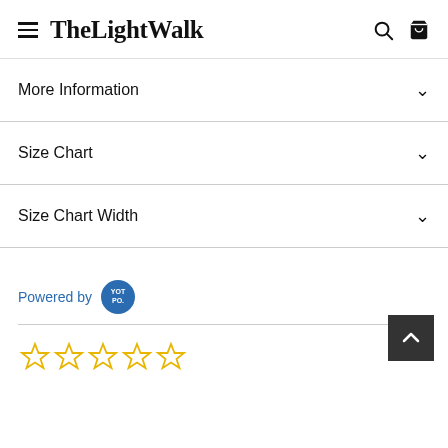TheLightWalk
More Information
Size Chart
Size Chart Width
Powered by YOTPO
[Figure (other): Five empty star rating icons in gold/yellow outline]